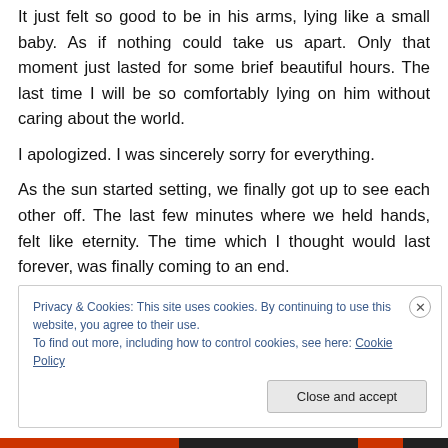It just felt so good to be in his arms, lying like a small baby. As if nothing could take us apart. Only that moment just lasted for some brief beautiful hours. The last time I will be so comfortably lying on him without caring about the world.
I apologized. I was sincerely sorry for everything.
As the sun started setting, we finally got up to see each other off. The last few minutes where we held hands, felt like eternity. The time which I thought would last forever, was finally coming to an end.
Privacy & Cookies: This site uses cookies. By continuing to use this website, you agree to their use.
To find out more, including how to control cookies, see here: Cookie Policy